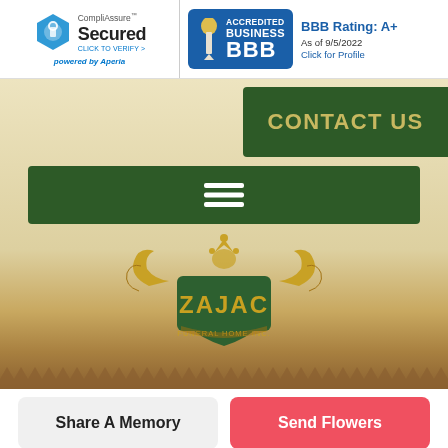[Figure (logo): CompliAssure Secured badge with hexagon icon, 'CLICK TO VERIFY >' link, and 'powered by Aperia' text]
[Figure (logo): BBB Accredited Business badge with torch logo, 'BBB Rating: A+', 'As of 9/5/2022', 'Click for Profile']
CONTACT US
[Figure (infographic): Hamburger menu icon (three white horizontal lines) on dark green bar]
[Figure (logo): Zajac Funeral Home Inc. crest logo with gold decorative elements and green shield]
Share A Memory
Send Flowers
Plant A Tree